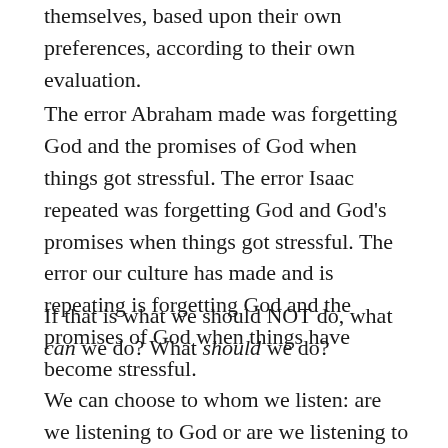themselves, based upon their own preferences, according to their own evaluation.
The error Abraham made was forgetting God and the promises of God when things got stressful. The error Isaac repeated was forgetting God and God's promises when things got stressful. The error our culture has made and is repeating is forgetting God and the promises of God when things have become stressful.
If that is what we should NOT do, what can we do? What should we do?
We can choose to whom we listen: are we listening to God or are we listening to the world? If we want to